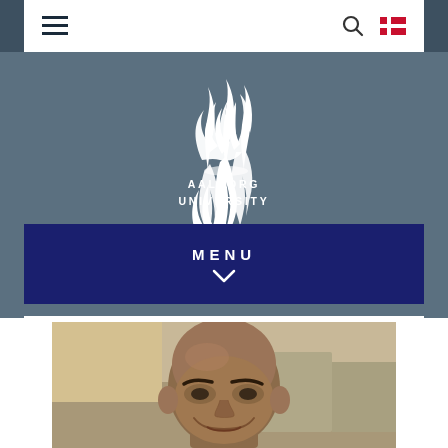Navigation bar with hamburger menu, search icon, and Danish flag icon
[Figure (logo): Aalborg University logo - white flame/wave symbol above text 'AALBORG UNIVERSITY']
MENU
[Figure (photo): Headshot photo of a bald middle-aged man smiling, outdoor background]